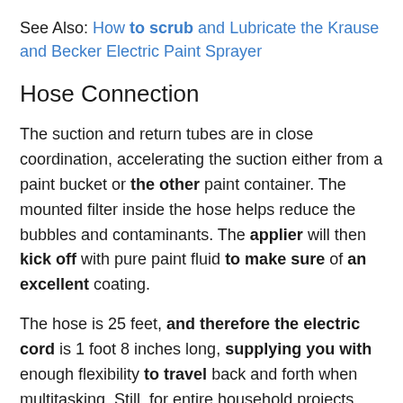See Also: How to scrub and Lubricate the Krause and Becker Electric Paint Sprayer
Hose Connection
The suction and return tubes are in close coordination, accelerating the suction either from a paint bucket or the other paint container. The mounted filter inside the hose helps reduce the bubbles and contaminants. The applier will then kick off with pure paint fluid to make sure of an excellent coating.
The hose is 25 feet, and therefore the electric cord is 1 foot 8 inches long, supplying you with enough flexibility to travel back and forth when multitasking. Still, for entire household projects, moving the machine is unavoidable.